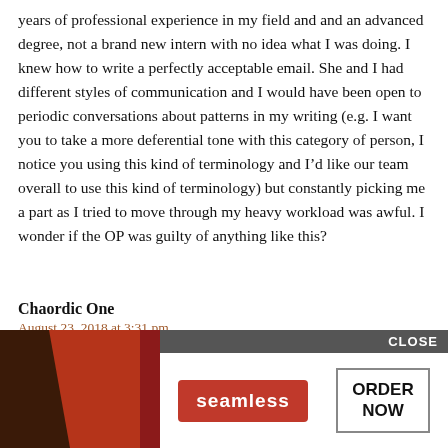years of professional experience in my field and and an advanced degree, not a brand new intern with no idea what I was doing. I knew how to write a perfectly acceptable email. She and I had different styles of communication and I would have been open to periodic conversations about patterns in my writing (e.g. I want you to take a more deferential tone with this category of person, I notice you using this kind of terminology and I'd like our team overall to use this kind of terminology) but constantly picking me a part as I tried to move through my heavy workload was awful. I wonder if the OP was guilty of anything like this?
Chaordic One
August 23, 2018 at 3:31 pm
I've had bosses who did this and I complied. It didn't really seem like a big deal at the time but it resulted in my emails more stiff and formal than they would have otherwise been because I felt like I was under a microscope.
[Figure (screenshot): Seamless food delivery advertisement with pizza image on left, CLOSE button top right, seamless logo in red badge and ORDER NOW button on right side.]